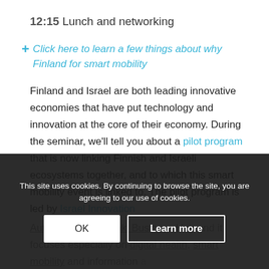12:15 Lunch and networking
Click here to learn a few things about why Finland for smart mobility
Finland and Israel are both leading innovative economies that have put technology and innovation at the core of their economy. During the seminar, we'll tell you about a pilot program that is now linking Finnish and Israeli ecosystems together, and to which this smart mobility event is linked to. The pilot program is led by Israel Innovation Authority and Helsinki Business Hub and it focuses especially on digital health, smart mobility and information and communication technologies. Funding and large matching services are available for Israeli and Finnish companies. Read
This site uses cookies. By continuing to browse the site, you are agreeing to our use of cookies.